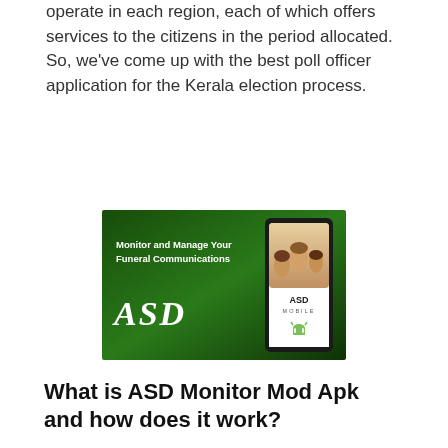operate in each region, each of which offers services to the citizens in the period allocated. So, we've come up with the best poll officer application for the Kerala election process.
[Figure (illustration): ASD advertisement banner with green gradient background. Left side shows 'Monitor and Manage Your Funeral Communications' text and ASD italic logo. Right side shows a smartphone with people's faces on screen and ASD Mobile branding with Android logo.]
What is ASD Monitor Mod Apk and how does it work?
ASD Monitor Apk is an Android program that provides consumers with the best and most straightforward services available. It is one of the most comprehensive sets of facilities for polling center officials. It enables users to obtain unlimited access to all polling booth information.